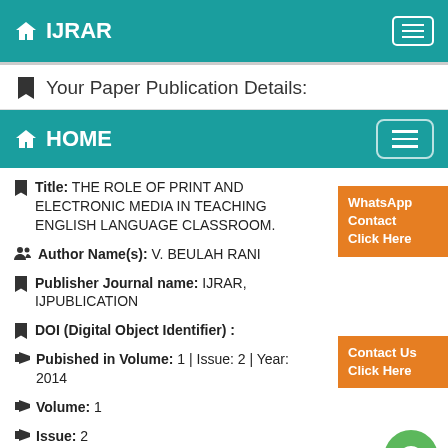IJRAR
Your Paper Publication Details:
HOME
Title: THE ROLE OF PRINT AND ELECTRONIC MEDIA IN TEACHING ENGLISH LANGUAGE CLASSROOM.
Author Name(s): V. BEULAH RANI
Publisher Journal name: IJRAR, IJPUBLICATION
DOI (Digital Object Identifier) :
Pubished in Volume: 1  | Issue: 2  | Year: 2014
Volume: 1
Issue: 2